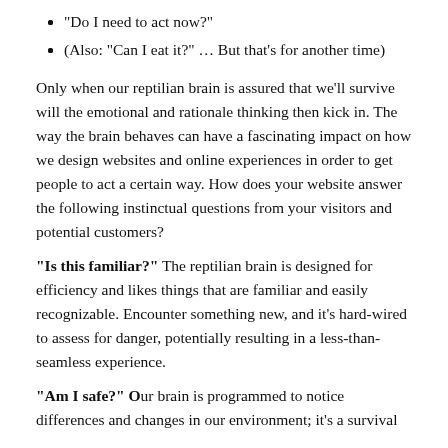“Do I need to act now?”
(Also: “Can I eat it?” … But that’s for another time)
Only when our reptilian brain is assured that we’ll survive will the emotional and rationale thinking then kick in. The way the brain behaves can have a fascinating impact on how we design websites and online experiences in order to get people to act a certain way. How does your website answer the following instinctual questions from your visitors and potential customers?
“Is this familiar?” The reptilian brain is designed for efficiency and likes things that are familiar and easily recognizable. Encounter something new, and it’s hard-wired to assess for danger, potentially resulting in a less-than-seamless experience.
“Am I safe?” Our brain is programmed to notice differences and changes in our environment; it’s a survival